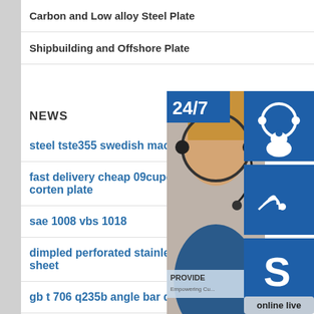Carbon and Low alloy Steel Plate
Shipbuilding and Offshore Plate
NEWS
steel tste355 swedish machining
fast delivery cheap 09cupcrni b w corten plate
sae 1008 vbs 1018
dimpled perforated stainless steel sheet
gb t 706 q235b angle bar distributor
HOT-SELLING
[Figure (photo): Customer service representative wearing headset with 24/7 support badge and contact icons (headset, phone, Skype) and online live button]